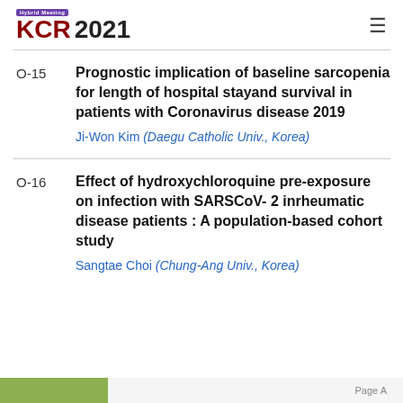KCR 2021 Hybrid Meeting
O-15 — Prognostic implication of baseline sarcopenia for length of hospital stayand survival in patients with Coronavirus disease 2019. Ji-Won Kim (Daegu Catholic Univ., Korea)
O-16 — Effect of hydroxychloroquine pre-exposure on infection with SARSCoV- 2 inrheumatic disease patients : A population-based cohort study. Sangtae Choi (Chung-Ang Univ., Korea)